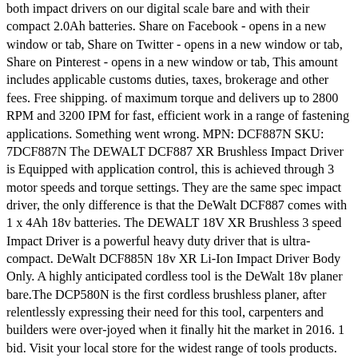both impact drivers on our digital scale bare and with their compact 2.0Ah batteries. Share on Facebook - opens in a new window or tab, Share on Twitter - opens in a new window or tab, Share on Pinterest - opens in a new window or tab, This amount includes applicable customs duties, taxes, brokerage and other fees. Free shipping. of maximum torque and delivers up to 2800 RPM and 3200 IPM for fast, efficient work in a range of fastening applications. Something went wrong. MPN: DCF887N SKU: 7DCF887N The DEWALT DCF887 XR Brushless Impact Driver is Equipped with application control, this is achieved through 3 motor speeds and torque settings. They are the same spec impact driver, the only difference is that the DeWalt DCF887 comes with 1 x 4Ah 18v batteries. The DEWALT 18V XR Brushless 3 speed Impact Driver is a powerful heavy duty driver that is ultra-compact. DeWalt DCF885N 18v XR Li-Ion Impact Driver Body Only. A highly anticipated cordless tool is the DeWalt 18v planer bare.The DCP580N is the first cordless brushless planer, after relentlessly expressing their need for this tool, carpenters and builders were over-joyed when it finally hit the market in 2016. 1 bid. Visit your local store for the widest range of tools products. Integrated Bluetooth® technology connects to the Tool Connectâ¢ free mobile app and Inventory Manager web portal so you can track, manage and customize the tool. Castleford, West Yorkshire, United Kingdom. FEATURES. This is a bug bare with the Makita range in my eyes and a big plus for DeWalt with their impact driver. Magnetic bit holder 1 X. DCD796N-XE. 5 out of 5 stars (1) 1 product ratings - DeWalt DCF902D2-GB 12V 2 x 2Ah XR Brushless Sub Compact 3/8" Impact Wrench. 9.2. In stock. Watch Queue Queue Product code: 88353 DeWalt DCK266M2T-GB 18V XR Cordless Brushless Combi Drill & Impact Driver Twin Pack 2 x 4.0Ah The DEWALT